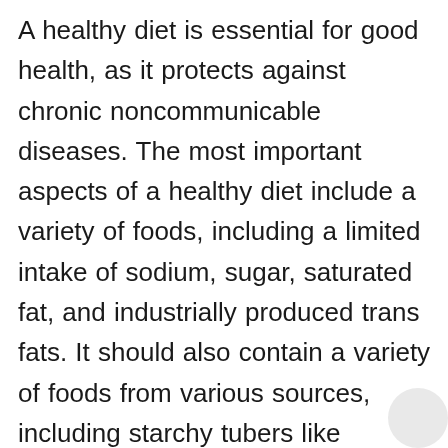A healthy diet is essential for good health, as it protects against chronic noncommunicable diseases. The most important aspects of a healthy diet include a variety of foods, including a limited intake of sodium, sugar, saturated fat, and industrially produced trans fats. It should also contain a variety of foods from various sources, including starchy tubers like potatoes and yams, and foods derived from animal sources such as eggs, meat, and fish. A healthy diet is not an all or nothing proposition. It does not mean that you have to eliminate all foods or change everything at once. In fact, a drastic change in your eating habits can lead to cheating or even abandoning your new eating plan. Instead, it is better to eat a balanced diet that provides all the necessary nutrients and boosts your mood. To keep your body in good